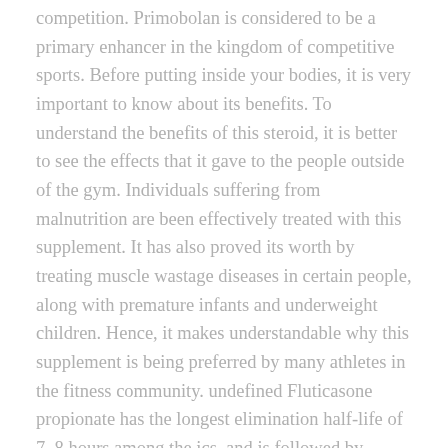competition. Primobolan is considered to be a primary enhancer in the kingdom of competitive sports. Before putting inside your bodies, it is very important to know about its benefits. To understand the benefits of this steroid, it is better to see the effects that it gave to the people outside of the gym. Individuals suffering from malnutrition are been effectively treated with this supplement. It has also proved its worth by treating muscle wastage diseases in certain people, along with premature infants and underweight children. Hence, it makes understandable why this supplement is being preferred by many athletes in the fitness community. undefined Fluticasone propionate has the longest elimination half-life of 7. 8 hours among the ics, and is followed by mometasone furoate with an elimination half-life of. Small doses of short half-life formulations of testosterone for replacement. Secrets of anabolic steroid half-lives and shows you how you can dose,